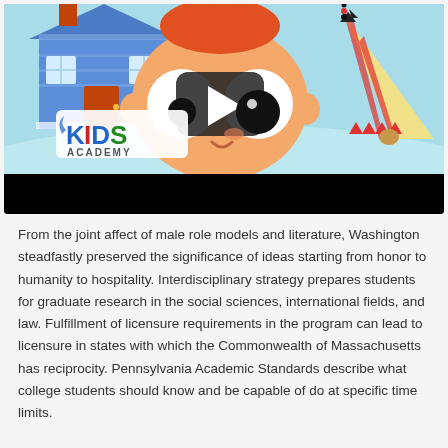[Figure (illustration): Kids Academy video thumbnail showing a cartoon child's face with big eyes, orange hair, a play button overlay, a blue house on the left, a teepee on the right, and the Kids Academy logo in the lower left. A black control bar is at the bottom.]
From the joint affect of male role models and literature, Washington steadfastly preserved the significance of ideas starting from honor to humanity to hospitality. Interdisciplinary strategy prepares students for graduate research in the social sciences, international fields, and law. Fulfillment of licensure requirements in the program can lead to licensure in states with which the Commonwealth of Massachusetts has reciprocity. Pennsylvania Academic Standards describe what college students should know and be capable of do at specific time limits.